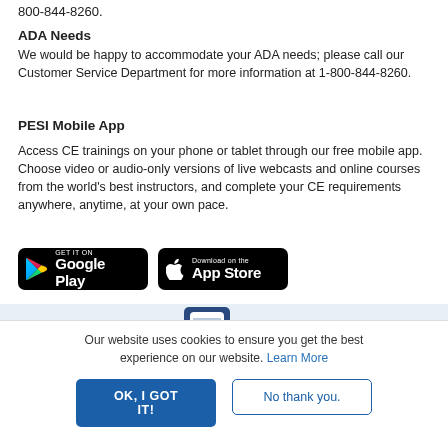800-844-8260.
ADA Needs
We would be happy to accommodate your ADA needs; please call our Customer Service Department for more information at 1-800-844-8260.
PESI Mobile App
Access CE trainings on your phone or tablet through our free mobile app. Choose video or audio-only versions of live webcasts and online courses from the world's best instructors, and complete your CE requirements anywhere, anytime, at your own pace.
[Figure (other): Google Play and Apple App Store download badges on black backgrounds]
[Figure (other): Advertisement banner: We take care of the marketing... Get your FREE listing on therapist.com today!]
Our website uses cookies to ensure you get the best experience on our website. Learn More
OK, I GOT IT!
No thank you.